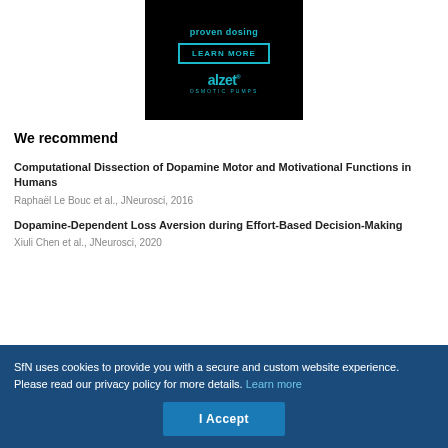[Figure (other): ALZET osmotic pumps advertisement banner with 'LEARN MORE' button and alzet logo on black background]
We recommend
Computational Dissection of Dopamine Motor and Motivational Functions in Humans
Raphaël Le Bouc et al., JNeurosci, 2016
Dopamine-Dependent Loss Aversion during Effort-Based Decision-Making
Xiuli Chen et al., JNeurosci, 2020
SfN uses cookies to provide you with a secure and custom website experience. Please read our privacy policy for more details. Learn more
I Accept